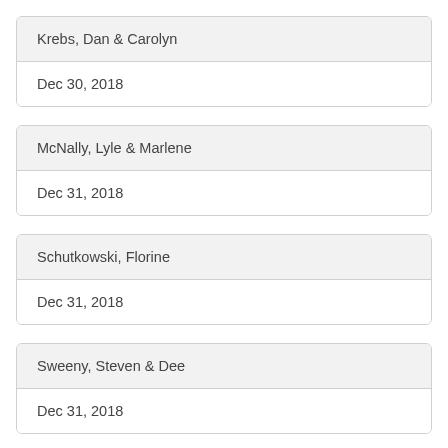Krebs, Dan & Carolyn
Dec 30, 2018
McNally, Lyle & Marlene
Dec 31, 2018
Schutkowski, Florine
Dec 31, 2018
Sweeny, Steven & Dee
Dec 31, 2018
Binalke, Gordy & Judy